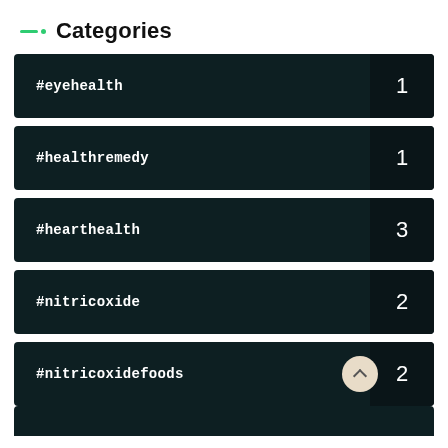Categories
#eyehealth
#healthremedy
#hearthealth
#nitricoxide
#nitricoxidefoods